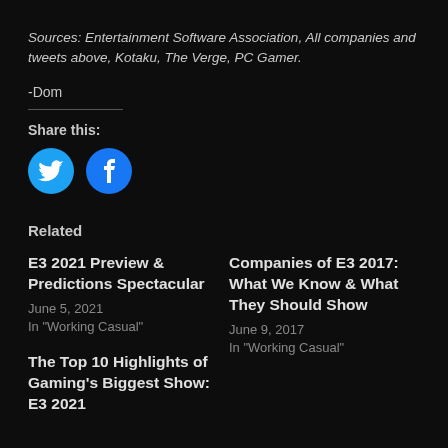Sources: Entertainment Software Association, All companies and tweets above, Kotaku, The Verge, PC Gamer.
-Dom
Share this:
[Figure (illustration): Twitter bird icon in blue circle and Facebook 'f' icon in blue circle]
Related
E3 2021 Preview & Predictions Spectacular
June 5, 2021
In "Working Casual"
Companies of E3 2017: What We Know & What They Should Show
June 9, 2017
In "Working Casual"
The Top 10 Highlights of Gaming's Biggest Show: E3 2021